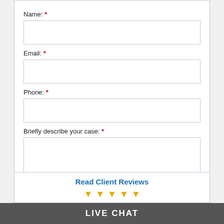Name: *
Email: *
Phone: *
Briefly describe your case: *
SUBMIT
Read Client Reviews
LIVE CHAT